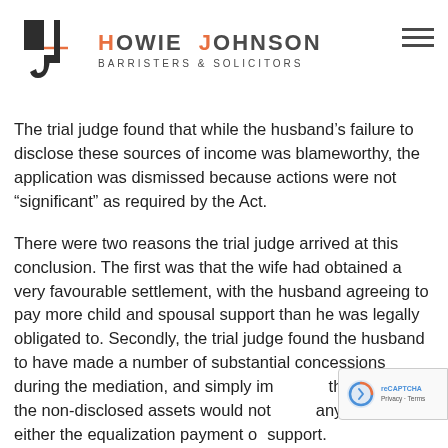[Figure (logo): Howie Johnson Barristers & Solicitors logo with stylized HJ monogram in dark grey/black and orange accent line, firm name in dark and orange letters]
The trial judge found that while the husband’s failure to disclose these sources of income was blameworthy, the application was dismissed because actions were not “significant” as required by the Act.
There were two reasons the trial judge arrived at this conclusion. The first was that the wife had obtained a very favourable settlement, with the husband agreeing to pay more child and spousal support than he was legally obligated to. Secondly, the trial judge found the husband to have made a number of substantial concessions during the mediation, and simply im the value of the non-disclosed assets would not any impact on either the equalization payment o support.